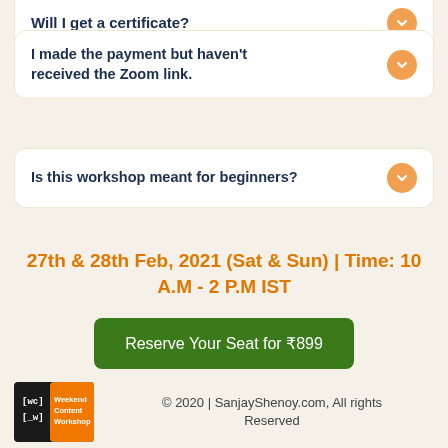Will I get a certificate?
I made the payment but haven't received the Zoom link.
Is this workshop meant for beginners?
27th & 28th Feb, 2021 (Sat & Sun) | Time: 10 A.M - 2 P.M IST
Reserve Your Seat for ₹899
© 2020 | SanjayShenoy.com, All rights Reserved